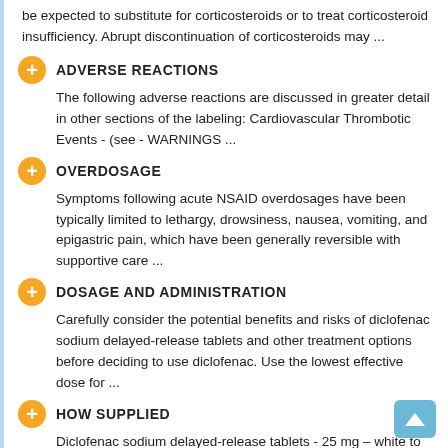be expected to substitute for corticosteroids or to treat corticosteroid insufficiency. Abrupt discontinuation of corticosteroids may ...
ADVERSE REACTIONS
The following adverse reactions are discussed in greater detail in other sections of the labeling: Cardiovascular Thrombotic Events - (see - WARNINGS ...
OVERDOSAGE
Symptoms following acute NSAID overdosages have been typically limited to lethargy, drowsiness, nausea, vomiting, and epigastric pain, which have been generally reversible with supportive care ...
DOSAGE AND ADMINISTRATION
Carefully consider the potential benefits and risks of diclofenac sodium delayed-release tablets and other treatment options before deciding to use diclofenac. Use the lowest effective dose for ...
HOW SUPPLIED
Diclofenac sodium delayed-release tablets - 25 mg – white to